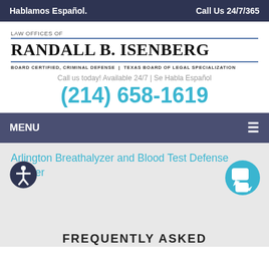Hablamos Español.    Call Us 24/7/365
[Figure (logo): Law Offices of Randall B. Isenberg logo with firm name, board certification text, tagline and phone number]
RANDALL B. ISENBERG
LAW OFFICES OF
BOARD CERTIFIED, CRIMINAL DEFENSE | TEXAS BOARD OF LEGAL SPECIALIZATION
Call us today! Available 24/7 | Se Habla Español
(214) 658-1619
MENU
Arlington Breathalyzer and Blood Test Defense Lawyer
FREQUENTLY ASKED